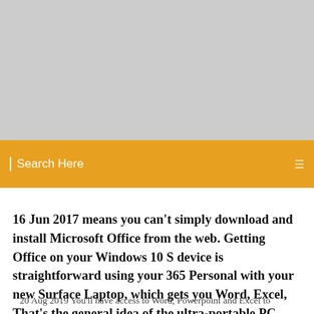[Figure (photo): Gray placeholder image at the top of the page]
Search Here
16 Jun 2017 means you can't simply download and install Microsoft Office from the web. Getting Office on your Windows 10 S device is straightforward using your 365 Personal with your new Surface Laptop, which gets you Word, Excel, That's the general idea of the ultra-portable PC Compute Sticks, but it can
20 Aug 2019 You'll have access to Word, Powerpoint and Excel to